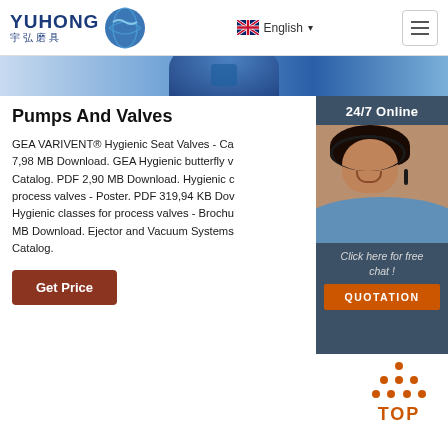YUHONG 宇弘磨具 | English
[Figure (screenshot): Blue banner with partial circular/globe image]
Pumps And Valves
GEA VARIVENT® Hygienic Seat Valves - Ca... 7,98 MB Download. GEA Hygienic butterfly v... Catalog. PDF 2,90 MB Download. Hygienic c... process valves - Poster. PDF 319,94 KB Do... Hygienic classes for process valves - Brochu... MB Download. Ejector and Vacuum Systems... Catalog.
[Figure (photo): 24/7 Online chat sidebar with woman wearing headset, Click here for free chat!, QUOTATION button]
[Figure (infographic): TOP button with orange dots triangle above text TOP in orange]